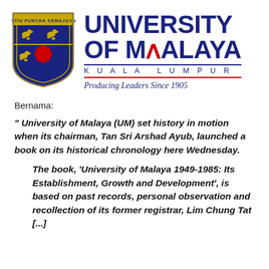[Figure (logo): University of Malaya crest/shield logo with blue background, gold lions, red flower, and banner]
UNIVERSITY OF MALAYA
KUALA LUMPUR
Producing Leaders Since 1905
Bernama:
" University of Malaya (UM) set history in motion when its chairman, Tan Sri Arshad Ayub, launched a book on its historical chronology here Wednesday.
The book, 'University of Malaya 1949-1985: Its Establishment, Growth and Development', is based on past records, personal observation and recollection of its former registrar, Lim Chung Tat [...]